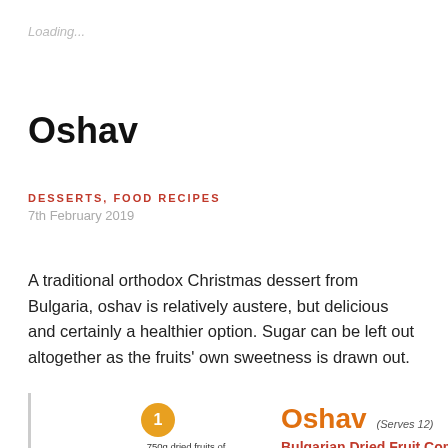Loading...
Oshav
DESSERTS, FOOD RECIPES
7th February 2019
A traditional orthodox Christmas dessert from Bulgaria, oshav is relatively austere, but delicious and certainly a healthier option. Sugar can be left out altogether as the fruits' own sweetness is drawn out.
[Figure (illustration): Recipe card illustration for Oshav - Bulgarian Dried Fruit Compote. Shows a numbered circle (1) with ingredients text '750g dried fruits of choice (e.g. prunes, apricots, figs, apples, peaches,...)' on the left, and on the right the stylized text 'Oshav' in orange with '(Serves 12)' and subtitle 'Bulgarian Dried Fruit Compote' in red cursive, plus the number 5.]